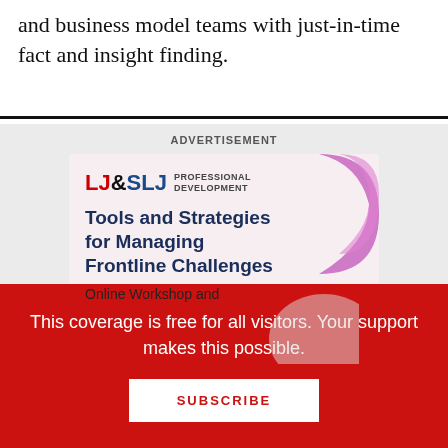research consultancy supporting corporate product and business model teams with just-in-time fact and insight finding.
ADVERTISEMENT
[Figure (illustration): LJ & SLJ Professional Development advertisement banner promoting 'Tools and Strategies for Managing Frontline Challenges' Online Workshop with decorative pink/magenta wave shapes]
This coverage is free for all visitors. Your support makes this possible.
SUBSCRIBE